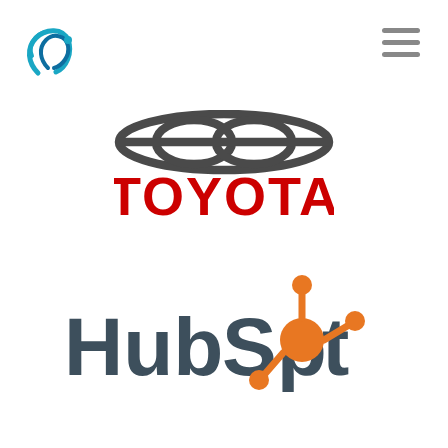[Figure (logo): Stylized blue and teal swirl/wave logo mark in top left corner]
[Figure (logo): Hamburger menu icon (three horizontal lines) in top right corner]
[Figure (logo): Toyota logo: dark grey oval emblem above bold red TOYOTA text]
[Figure (logo): HubSpot logo: dark grey 'HubSpot' text with orange sprocket/molecule icon replacing the 'o']